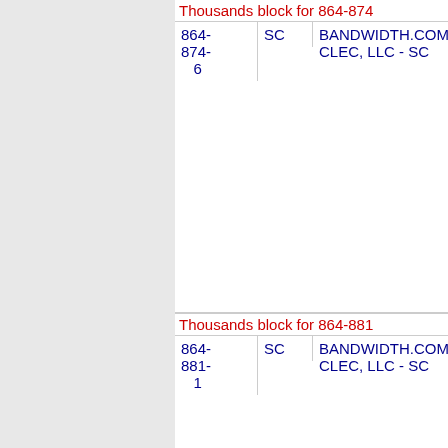| Number | State | Company | Code | Type |
| --- | --- | --- | --- | --- |
| 864-874-6 | SC | BANDWIDTH.COM CLEC, LLC - SC | 077F | GH... |
| 864-881-1 | SC | BANDWIDTH.COM CLEC, LLC - SC | 077F | SI... |